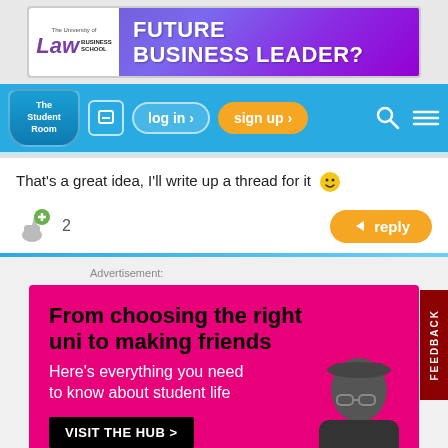[Figure (screenshot): University of Law Business School banner ad - FUTURE BUSINESS LEADER?]
[Figure (screenshot): The Student Room navigation bar with log in and sign up buttons]
That's a great idea, I'll write up a thread for it 🙂
[Figure (screenshot): Like button with count 2 and reply button]
[Figure (screenshot): Advertisement: From choosing the right uni to making friends. Here's everything you need to know about student life. VISIT THE HUB >]